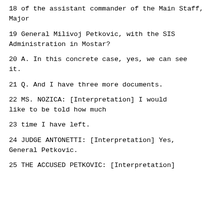18    of the assistant commander of the Main Staff, Major
19    General Milivoj Petkovic, with the SIS Administration in Mostar?
20        A.  In this concrete case, yes, we can see it.
21        Q.  And I have three more documents.
22            MS. NOZICA: [Interpretation] I would like to be told how much
23    time I have left.
24            JUDGE ANTONETTI: [Interpretation] Yes, General Petkovic.
25            THE ACCUSED PETKOVIC: [Interpretation]